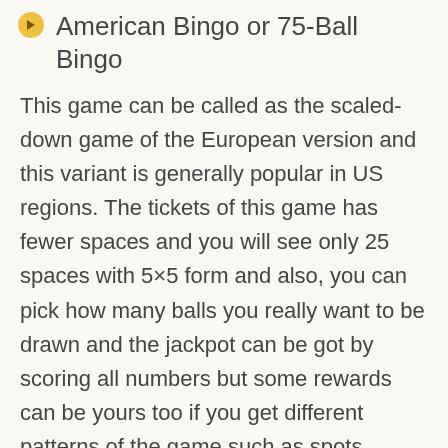American Bingo or 75-Ball Bingo
This game can be called as the scaled-down game of the European version and this variant is generally popular in US regions. The tickets of this game has fewer spaces and you will see only 25 spaces with 5×5 form and also, you can pick how many balls you really want to be drawn and the jackpot can be got by scoring all numbers but some rewards can be yours too if you get different patterns of the game such as spots, hearts and corner.
30-ball Bingo